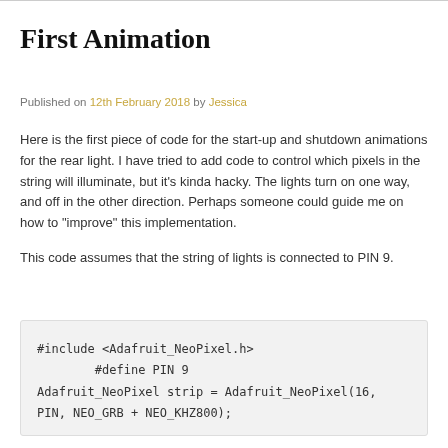First Animation
Published on 12th February 2018 by Jessica
Here is the first piece of code for the start-up and shutdown animations for the rear light. I have tried to add code to control which pixels in the string will illuminate, but it's kinda hacky. The lights turn on one way, and off in the other direction. Perhaps someone could guide me on how to "improve" this implementation.

This code assumes that the string of lights is connected to PIN 9.
#include <Adafruit_NeoPixel.h>
        #define PIN 9
Adafruit_NeoPixel strip = Adafruit_NeoPixel(16,
PIN, NEO_GRB + NEO_KHZ800);